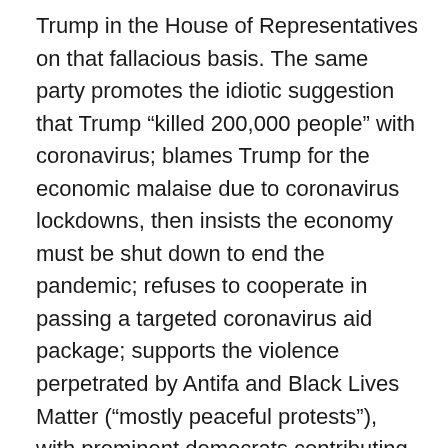Trump in the House of Representatives on that fallacious basis. The same party promotes the idiotic suggestion that Trump “killed 200,000 people” with coronavirus; blames Trump for the economic malaise due to coronavirus lockdowns, then insists the economy must be shut down to end the pandemic; refuses to cooperate in passing a targeted coronavirus aid package; supports the violence perpetrated by Antifa and Black Lives Matter (“mostly peaceful protests”), with prominent democrats contributing to the payment of bail for arrested rioters; calls Trump a dictator for offering to help state and local leaders end the violent civil disorder; refuses to call-out the racism promoted by Antifa and BLM; promotes the Marxism and racism of critical race theory; and attacks his latest Supreme Court nominee on religious grounds. The Democrats also threaten to instigate one-party rule by